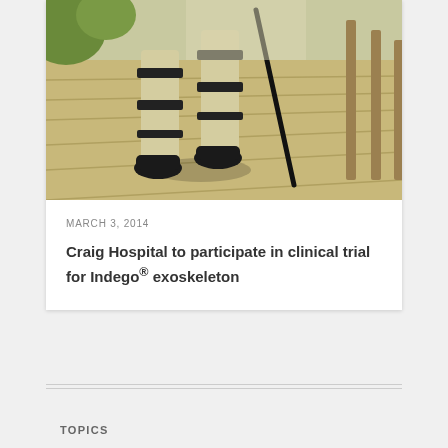[Figure (photo): Close-up of person's legs wearing a leg exoskeleton brace while walking on a wooden boardwalk with a cane]
MARCH 3, 2014
Craig Hospital to participate in clinical trial for Indego® exoskeleton
TOPICS